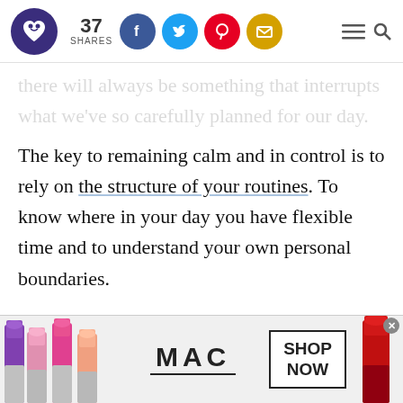37 SHARES [social icons: Facebook, Twitter, Pinterest, Email] [hamburger menu] [search]
there will always be something that interrupts what we've so carefully planned for our day.
The key to remaining calm and in control is to rely on the structure of your routines. To know where in your day you have flexible time and to understand your own personal boundaries.
So, use these tips for personal boundaries in order to create a better work-life balance.
[Figure (screenshot): MAC Cosmetics advertisement banner showing lipsticks, MAC logo with underline, and SHOP NOW button]